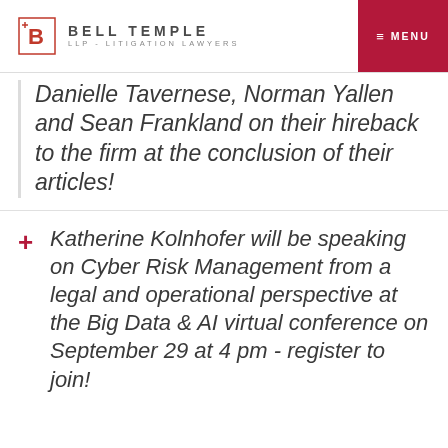Bell Temple LLP - Litigation Lawyers | MENU
Danielle Tavernese, Norman Yallen and Sean Frankland on their hireback to the firm at the conclusion of their articles!
Katherine Kolnhofer will be speaking on Cyber Risk Management from a legal and operational perspective at the Big Data & AI virtual conference on September 29 at 4 pm - register to join!